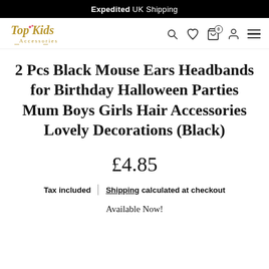Expedited UK Shipping
[Figure (logo): Top Kids Accessories logo in gold cursive script with a small pink bow]
2 Pcs Black Mouse Ears Headbands for Birthday Halloween Parties Mum Boys Girls Hair Accessories Lovely Decorations (Black)
£4.85
Tax included | Shipping calculated at checkout
Available Now!